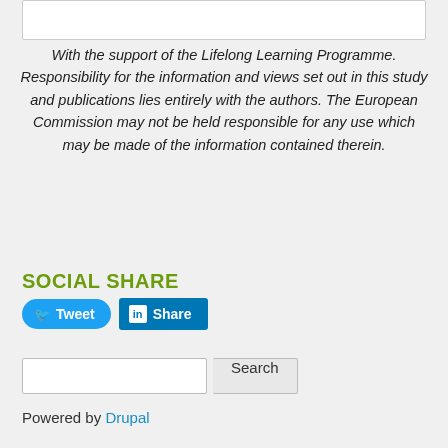With the support of the Lifelong Learning Programme. Responsibility for the information and views set out in this study and publications lies entirely with the authors. The European Commission may not be held responsible for any use which may be made of the information contained therein.
SOCIAL SHARE
[Figure (other): Social share buttons: Tweet (Twitter) and Share (LinkedIn)]
[Figure (other): Search input field with Search button]
Powered by Drupal